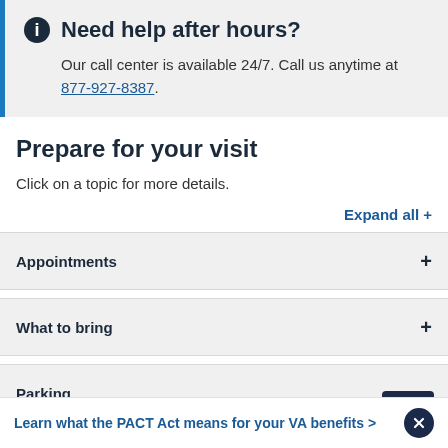Need help after hours?
Our call center is available 24/7. Call us anytime at 877-927-8387.
Prepare for your visit
Click on a topic for more details.
Expand all +
Appointments
What to bring
Parking
Learn what the PACT Act means for your VA benefits >